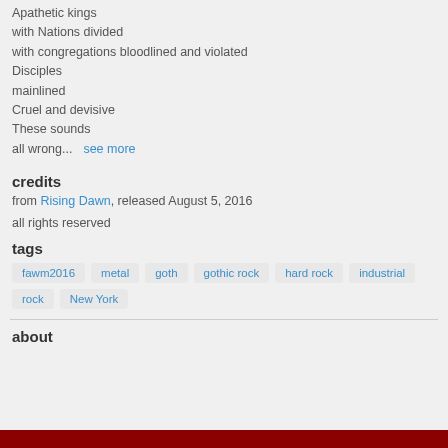Apathetic kings
with Nations divided
with congregations bloodlined and violated
Disciples
mainlined
Cruel and devisive
These sounds
all wrong...  see more
credits
from Rising Dawn, released August 5, 2016
all rights reserved
tags
fawm2016
metal
goth
gothic rock
hard rock
industrial
rock
New York
about